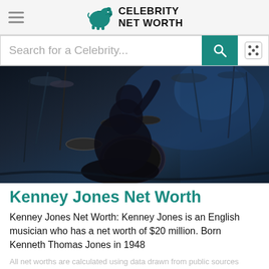Celebrity Net Worth
Search for a Celebrity...
[Figure (photo): A drummer performing behind a drum kit on stage, dark background with stage equipment visible]
Kenney Jones Net Worth
Kenney Jones Net Worth: Kenney Jones is an English musician who has a net worth of $20 million. Born Kenneth Thomas Jones in 1948
All net worths are calculated using data drawn from public sources